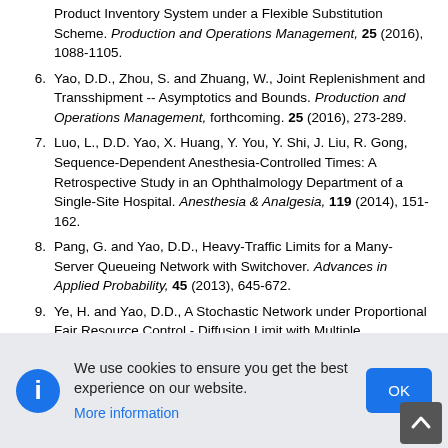Product Inventory System under a Flexible Substitution Scheme. Production and Operations Management, 25 (2016), 1088-1105.
6. Yao, D.D., Zhou, S. and Zhuang, W., Joint Replenishment and Transshipment -- Asymptotics and Bounds. Production and Operations Management, forthcoming. 25 (2016), 273-289.
7. Luo, L., D.D. Yao, X. Huang, Y. You, Y. Shi, J. Liu, R. Gong, Sequence-Dependent Anesthesia-Controlled Times: A Retrospective Study in an Ophthalmology Department of a Single-Site Hospital. Anesthesia & Analgesia, 119 (2014), 151-162.
8. Pang, G. and Yao, D.D., Heavy-Traffic Limits for a Many-Server Queueing Network with Switchover. Advances in Applied Probability, 45 (2013), 645-672.
9. Ye, H. and Yao, D.D., A Stochastic Network under Proportional Fair Resource Control - Diffusion Limit with Multiple Bottlenecks. Operations Research, 60 (2012), 716-738.
10. Cheng, F., Ettl, M., Lu, Y. and Yao, D.D., A Two-Stage Push-Pull...
We use cookies to ensure you get the best experience on our website. More information
[Figure (other): Cookie consent banner with information icon, text, More information link, and OK button. Also a scroll-to-top arrow button in bottom right.]